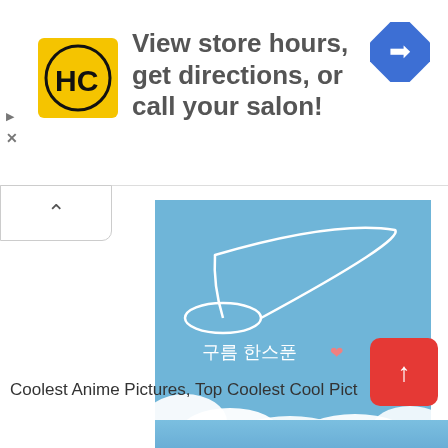View store hours, get directions, or call your salon!
[Figure (screenshot): A screenshot of a webpage showing a blue sky with white clouds and a spoon illustration with Korean text '구름 한스푼❤' and the caption 'Coolest Anime Pictures, Top Coolest Cool Pict...']